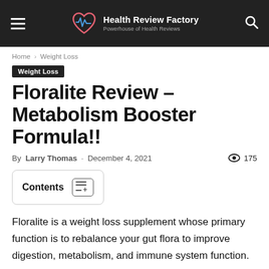Health Review Factory — Powerhouse of Health Reviews
Home › Weight Loss
Weight Loss
Floralite Review – Metabolism Booster Formula!!
By Larry Thomas - December 4, 2021   175
Contents
Floralite is a weight loss supplement whose primary function is to rebalance your gut flora to improve digestion, metabolism, and immune system function.